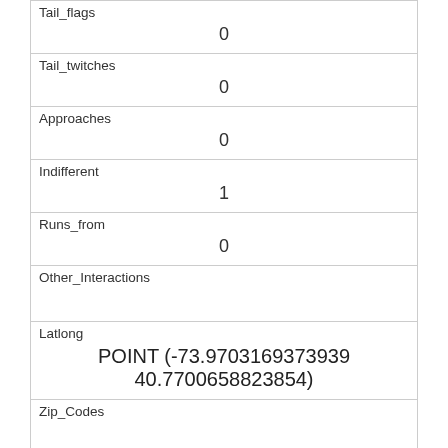| Tail_flags | 0 |
| Tail_twitches | 0 |
| Approaches | 0 |
| Indifferent | 1 |
| Runs_from | 0 |
| Other_Interactions |  |
| Latlong | POINT (-73.9703169373939 40.7700658823854) |
| Zip_Codes |  |
| Community_Districts | 19 |
| Borough_Boundaries | 4 |